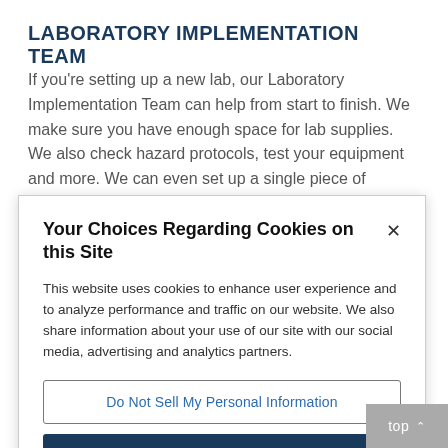LABORATORY IMPLEMENTATION TEAM
If you're setting up a new lab, our Laboratory Implementation Team can help from start to finish. We make sure you have enough space for lab supplies. We also check hazard protocols, test your equipment and more. We can even set up a single piece of equipment
Your Choices Regarding Cookies on this Site
This website uses cookies to enhance user experience and to analyze performance and traffic on our website. We also share information about your use of our site with our social media, advertising and analytics partners.
Do Not Sell My Personal Information
Accept Cookies
top